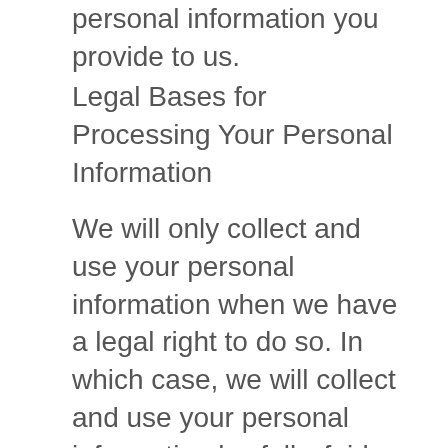personal information you provide to us.
Legal Bases for Processing Your Personal Information
We will only collect and use your personal information when we have a legal right to do so. In which case, we will collect and use your personal information lawfully, fairly, and in a transparent manner. If we seek your consent to process your personal information, and you are under 16 years of age, we will seek your parent or legal guardian's consent to process your personal information for that specific purpose.